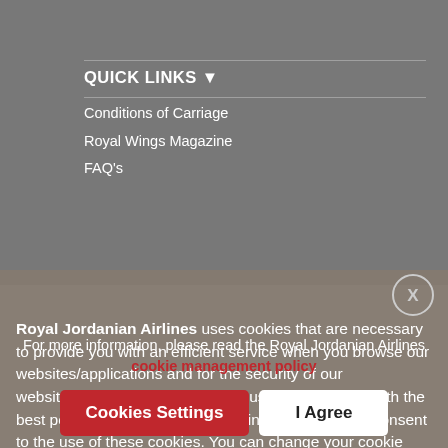QUICK LINKS ▼
Conditions of Carriage
Royal Wings Magazine
FAQ's
Royal Jordanian Airlines uses cookies that are necessary to provide you with an efficient service when you browse our websites/applications and for the security of our websites/applications. They allow us to provide you with the best possible experience. By clicking on Agree, you consent to the use of these cookies. You can change your cookie settings at any time.
For more information, please read the Royal Jordanian Airlines cookie management policy
Cookies Settings
I Agree